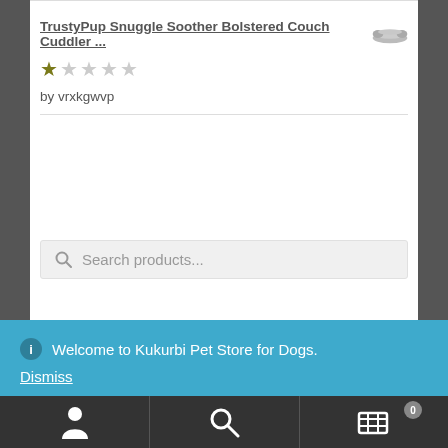TrustyPup Snuggle Soother Bolstered Couch Cuddler ...
★☆☆☆☆
by vrxkgwvp
Search products...
ⓘ Welcome to Kukurbi Pet Store for Dogs.
Dismiss